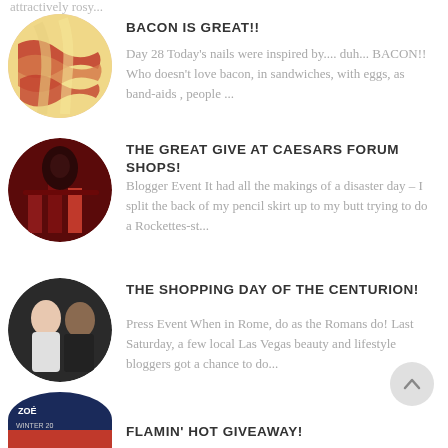...attractively rosy...
BACON IS GREAT!!
Day 28 Today's nails were inspired by.... duh... BACON!! Who doesn't love bacon, in sandwiches, with eggs, as band-aids , people ...
THE GREAT GIVE AT CAESARS FORUM SHOPS!
Blogger Event It had all the makings of a disaster day – I split the back of my pencil skirt up to my butt trying to do a Rockettes-st...
THE SHOPPING DAY OF THE CENTURION!
Press Event When in Rome, do as the Romans do! Last Saturday, a few local Las Vegas beauty and lifestyle bloggers got a chance to do...
FLAMIN' HOT GIVEAWAY!